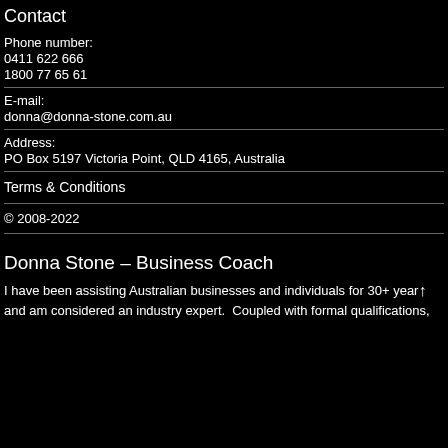Contact
Phone number:
0411 622 666
1800 77 65 61
E-mail:
donna@donna-stone.com.au
Address:
PO Box 5197 Victoria Point, QLD 4165, Australia
Terms & Conditions
© 2008-2022
Donna Stone – Business Coach
I have been assisting Australian businesses and individuals for 30+ years and am considered an industry expert.  Coupled with formal qualifications,